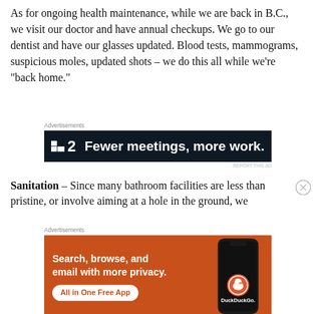As for ongoing health maintenance, while we are back in B.C., we visit our doctor and have annual checkups. We go to our dentist and have our glasses updated. Blood tests, mammograms, suspicious moles, updated shots – we do this all while we’re “back home.”
[Figure (screenshot): Advertisement banner: dark navy background with a small white square icon and bold '2' followed by white bold text 'Fewer meetings, more work.']
Sanitation – Since many bathroom facilities are less than pristine, or involve aiming at a hole in the ground,  we
[Figure (screenshot): Advertisement banner: orange background with white bold text 'Search, browse, and email with more privacy.' and a white pill button 'All in One Free App', plus a phone image showing DuckDuckGo app on the right.]